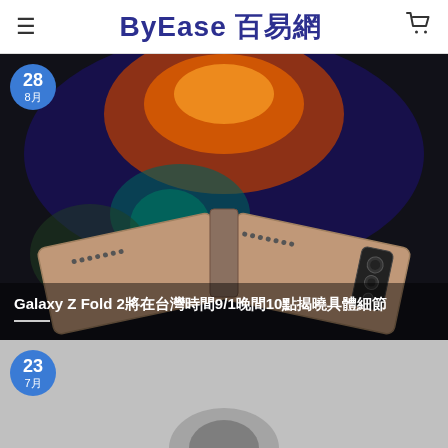ByEase 百易網
[Figure (photo): Samsung Galaxy Z Fold 2 promotional image showing the foldable phone open from the back, with orange and teal reflective display, on dark background. Article title overlay: Galaxy Z Fold 2將在台灣時間9/1晚間10點揭曉具體細節]
[Figure (photo): Partial second article card with gray background, date badge showing 23 / 7月]